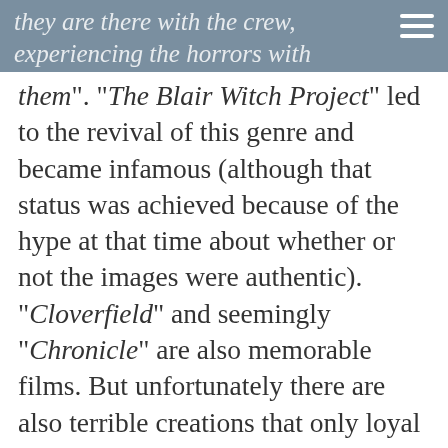they are there with the crew, experiencing the horrors with them". "The Blair Witch Project" led to the revival of this genre and became infamous (although that status was achieved because of the hype at that time about whether or not the images were authentic). "Cloverfield" and seemingly "Chronicle" are also memorable films. But unfortunately there are also terrible creations that only loyal supporters enchant like "The Dinosaur Project"." The tapes"." SY